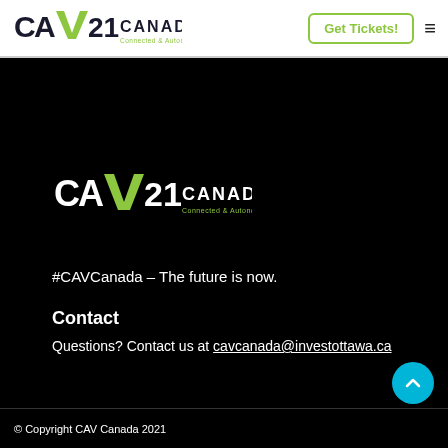[Figure (logo): CAV21 Canada Connected & Autonomous Vehicles logo in header, dark text on white background]
Get Tickets!
[Figure (logo): CAV21 Canada Connected & Autonomous Vehicles logo, white version on black background]
#CAVCanada – The future is now.
Contact
Questions? Contact us at cavcanada@investottawa.ca
© Copyright CAV Canada 2021